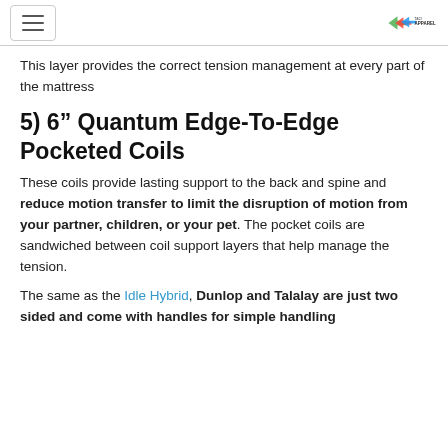[hamburger menu] [Taci Apparel logo]
This layer provides the correct tension management at every part of the mattress
5) 6” Quantum Edge-To-Edge Pocketed Coils
These coils provide lasting support to the back and spine and reduce motion transfer to limit the disruption of motion from your partner, children, or your pet. The pocket coils are sandwiched between coil support layers that help manage the tension.
The same as the Idle Hybrid, Dunlop and Talalay are just two sided and come with handles for simple handling